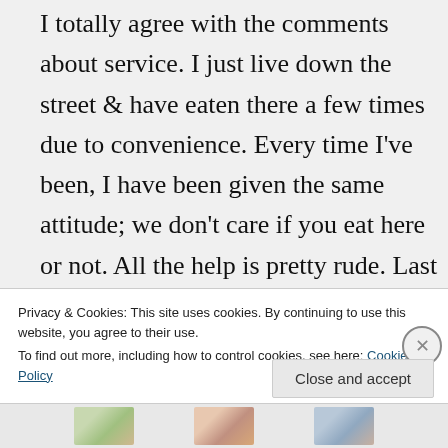I totally agree with the comments about service. I just live down the street & have eaten there a few times due to convenience. Every time I've been, I have been given the same attitude; we don't care if you eat here or not. All the help is pretty rude. Last time I was there, I spent over a hundred dollars on take-out. I ordered baby backs & regular pork ribs. They gave me beef ribs instead of reg ribs. I called & they insisited the had given me pork ribs. I am
Privacy & Cookies: This site uses cookies. By continuing to use this website, you agree to their use. To find out more, including how to control cookies, see here: Cookie Policy
Close and accept